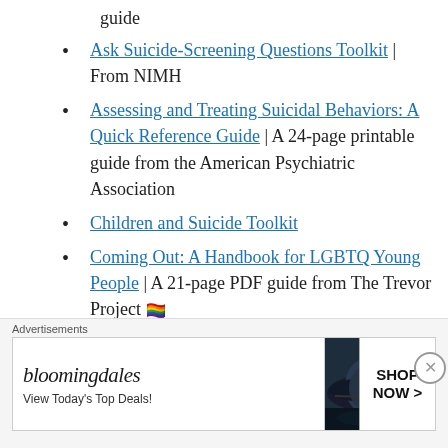guide
Ask Suicide-Screening Questions Toolkit | From NIMH
Assessing and Treating Suicidal Behaviors: A Quick Reference Guide | A 24-page printable guide from the American Psychiatric Association
Children and Suicide Toolkit
Coming Out: A Handbook for LGBTQ Young People | A 21-page PDF guide from The Trevor Project 🏳️‍🌈
Coping with Suicidal Thoughts | A 7-page PDF
Finding Your Way Back | Guiding Their Way
Advertisements
[Figure (other): Bloomingdales advertisement banner with logo, 'View Today's Top Deals!' tagline, woman in hat, and 'SHOP NOW >' button]